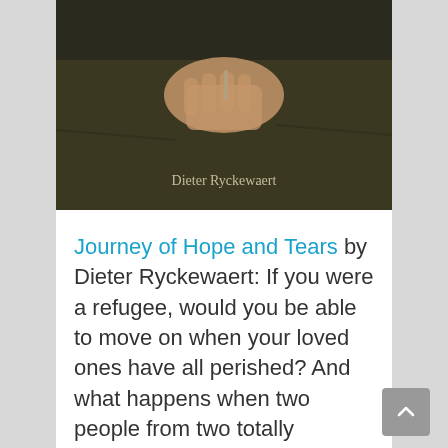[Figure (photo): Book cover photo showing a close-up of hands holding something, with text 'Dieter Ryckewaert' overlay on a dark image]
Journey of Hope and Tears by Dieter Ryckewaert: If you were a refugee, would you be able to move on when your loved ones have all perished? And what happens when two people from two totally different cultures meet in the heat of battle? Journey of Hope and Tears: An unusual story about the true meaning of love, set in a dystopian